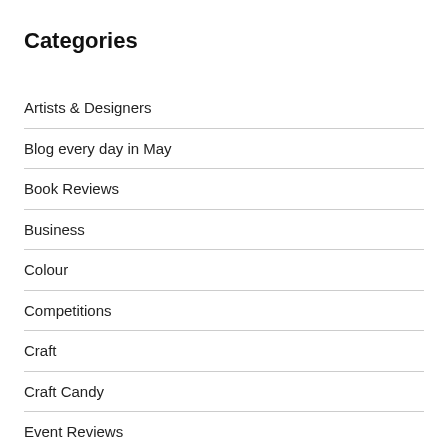Categories
Artists & Designers
Blog every day in May
Book Reviews
Business
Colour
Competitions
Craft
Craft Candy
Event Reviews
Events
Fairs